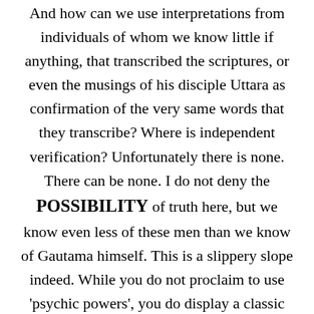And how can we use interpretations from individuals of whom we know little if anything, that transcribed the scriptures, or even the musings of his disciple Uttara as confirmation of the very same words that they transcribe? Where is independent verification? Unfortunately there is none. There can be none. I do not deny the POSSIBILITY of truth here, but we know even less of these men than we know of Gautama himself. This is a slippery slope indeed. While you do not proclaim to use 'psychic powers', you do display a classic 'faith' in those scriptures and